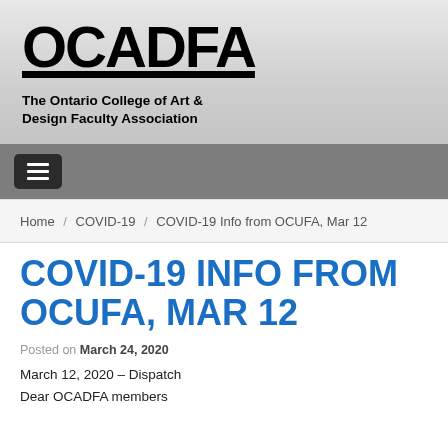[Figure (logo): OCADFA logo with large bold text and underline]
The Ontario College of Art & Design Faculty Association
[Figure (other): Navigation bar with hamburger menu button]
Home / COVID-19 / COVID-19 Info from OCUFA, Mar 12
COVID-19 INFO FROM OCUFA, MAR 12
Posted on March 24, 2020
March 12, 2020 – Dispatch
Dear OCADFA members